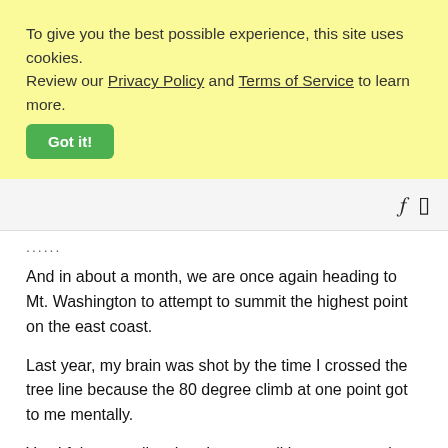To give you the best possible experience, this site uses cookies. Review our Privacy Policy and Terms of Service to learn more.
Got it!
...
And in about a month, we are once again heading to Mt. Washington to attempt to summit the highest point on the east coast.
Last year, my brain was shot by the time I crossed the tree line because the 80 degree climb at one point got to me mentally.
Yet, I felt more alive than I can recall in any recent time.
Perhaps that's why I got a motorcycle this year too.
Mortality. Life can't exist without death. No, I do not have a death wish, but I do know that putting myself in situations where I realize how fragile my life is helps new neural pathways open up in my